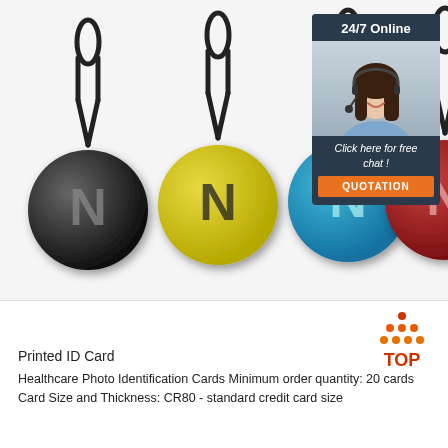[Figure (photo): Four NFC epoxy keyfob tags hanging by black cord loops, in black, yellow, blue, and red colors, each with the NFC N-mark logo. Alongside a customer service chat widget showing a woman with a headset, '24/7 Online' header, 'Click here for free chat!' text, and an orange QUOTATION button.]
[Figure (logo): TOP icon — orange triangle dots forming an upward arrow with 'TOP' text below in orange/red]
Printed ID Card
Healthcare Photo Identification Cards Minimum order quantity: 20 cards Card Size and Thickness: CR80 - standard credit card size